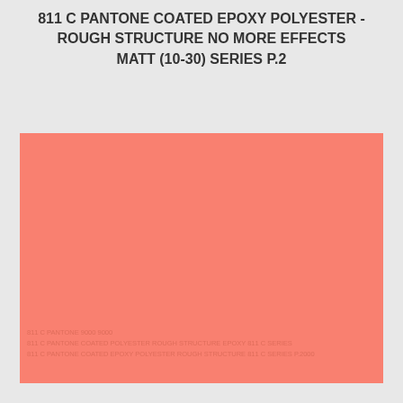811 C PANTONE COATED EPOXY POLYESTER - ROUGH STRUCTURE NO MORE EFFECTS MATT (10-30) SERIES P.2
[Figure (other): Large solid color swatch in a salmon/coral orange-pink color (PANTONE 811 C), filling most of the lower portion of the page. Faint watermark text is visible at the bottom of the swatch.]